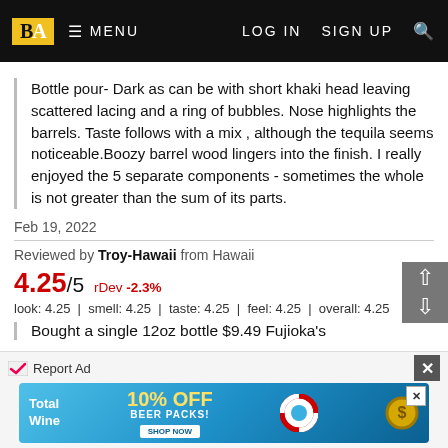BA MENU LOG IN SIGN UP
Bottle pour- Dark as can be with short khaki head leaving scattered lacing and a ring of bubbles. Nose highlights the barrels. Taste follows with a mix , although the tequila seems noticeable.Boozy barrel wood lingers into the finish. I really enjoyed the 5 separate components - sometimes the whole is not greater than the sum of its parts.
Feb 19, 2022
Reviewed by Troy-Hawaii from Hawaii
4.25/5 rDev -2.3%
look: 4.25 | smell: 4.25 | taste: 4.25 | feel: 4.25 | overall: 4.25
Bought a single 12oz bottle $9.49 Fujioka's